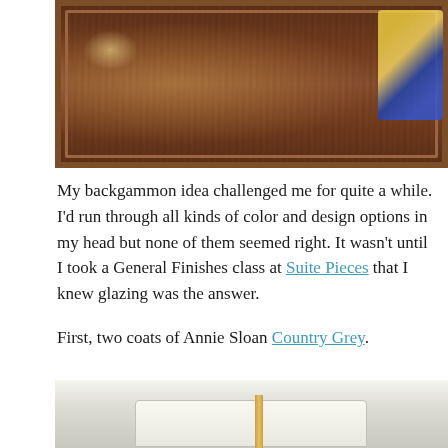[Figure (photo): Top-down view of a wooden table or tray surface with dark brown wood grain finish and a routed border edge, surrounded by plastic sheeting and tools including a yellow power drill on the right side]
My backgammon idea challenged me for quite a while. I'd run through all kinds of color and design options in my head but none of them seemed right. It wasn't until I took a General Finishes class at Suite Pieces that I knew glazing was the answer.
First, two coats of Annie Sloan Country Grey.
[Figure (photo): Bottom portion of a furniture piece painted in a light grey/cream color (Annie Sloan Country Grey), showing the top surface and a metallic/gold leg, set against a white wall]